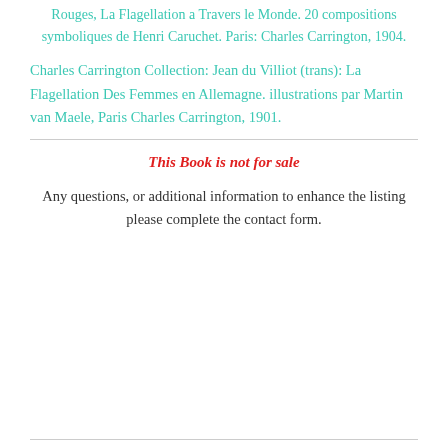Rouges, La Flagellation a Travers le Monde. 20 compositions symboliques de Henri Caruchet. Paris: Charles Carrington, 1904.
Charles Carrington Collection: Jean du Villiot (trans): La Flagellation Des Femmes en Allemagne. illustrations par Martin van Maele, Paris Charles Carrington, 1901.
This Book is not for sale
Any questions, or additional information to enhance the listing please complete the contact form.